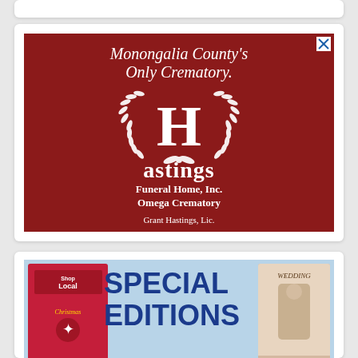[Figure (advertisement): Hastings Funeral Home advertisement on dark red background. Text reads: Monongalia County's Only Crematory. Hastings Funeral Home, Inc. Omega Crematory. Grant Hastings, Lic. 304.292.8664. 153 Spruce Street • Morgantown. www.hastingsfuneralhome.com. Features laurel wreath logo with H emblem.]
[Figure (advertisement): Partial advertisement for Special Editions showing magazine covers including a Shop Local Christmas edition and a Wedding edition, with large blue text reading SPECIAL EDITIONS.]